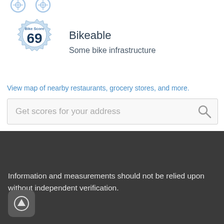[Figure (illustration): Partial bike icons visible at top]
[Figure (illustration): Bike Score badge showing score 69 in a gear/cog shape with light blue color]
Bikeable
Some bike infrastructure
View map of nearby restaurants, grocery stores, and more.
Get scores for your address
Information and measurements should not be relied upon without independent verification.
[Figure (illustration): Up arrow button in rounded square, dark grey background]